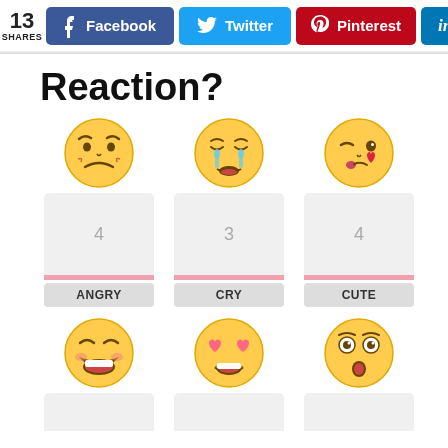13 SHARES | Facebook | Twitter | Pinterest | in
Reaction?
[Figure (infographic): Three emoji faces: angry, cry, cute (kiss face). Below each emoji is a grey card with numbers 4, 3, 4 and labels ANGRY, CRY, CUTE.]
[Figure (infographic): Three emoji faces in bottom row: laughing, heart-eyes, surprised/shocked. Below each is a partial grey card (cut off).]